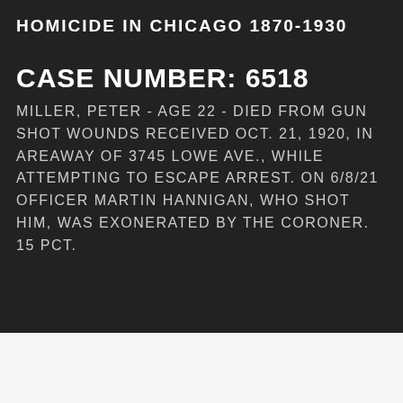HOMICIDE IN CHICAGO 1870-1930
CASE NUMBER: 6518
MILLER, PETER - AGE 22 - DIED FROM GUN SHOT WOUNDS RECEIVED OCT. 21, 1920, IN AREAWAY OF 3745 LOWE AVE., WHILE ATTEMPTING TO ESCAPE ARREST. ON 6/8/21 OFFICER MARTIN HANNIGAN, WHO SHOT HIM, WAS EXONERATED BY THE CORONER. 15 PCT.